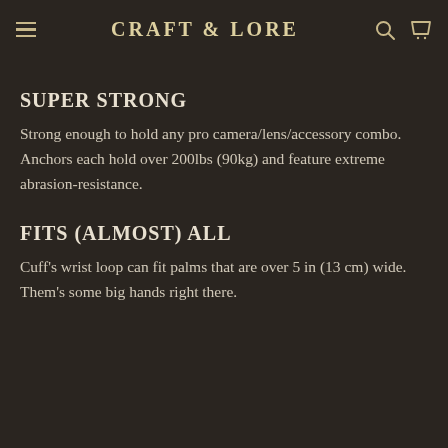CRAFT & LORE
SUPER STRONG
Strong enough to hold any pro camera/lens/accessory combo. Anchors each hold over 200lbs (90kg) and feature extreme abrasion-resistance.
FITS (ALMOST) ALL
Cuff's wrist loop can fit palms that are over 5 in (13 cm) wide. Them's some big hands right there.